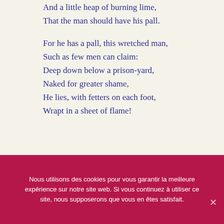And a little heap of burning lime,
That the man should have his pall.
For he has a pall, this wretched man,
Such as few men can claim:
Deep down below a prison-yard,
Naked for greater shame,
He lies, with fetters on each foot,
Wrapt in a sheet of flame!
Nous utilisons des cookies pour vous garantir la meilleure expérience sur notre site web. Si vous continuez à utiliser ce site, nous supposerons que vous en êtes satisfait.